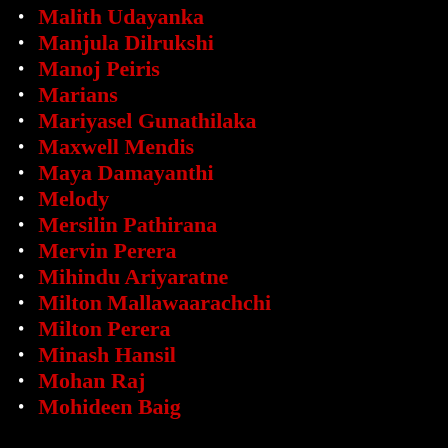Malith Udayanka
Manjula Dilrukshi
Manoj Peiris
Marians
Mariyasel Gunathilaka
Maxwell Mendis
Maya Damayanthi
Melody
Mersilin Pathirana
Mervin Perera
Mihindu Ariyaratne
Milton Mallawaarachchi
Milton Perera
Minash Hansil
Mohan Raj
Mohideen Baig